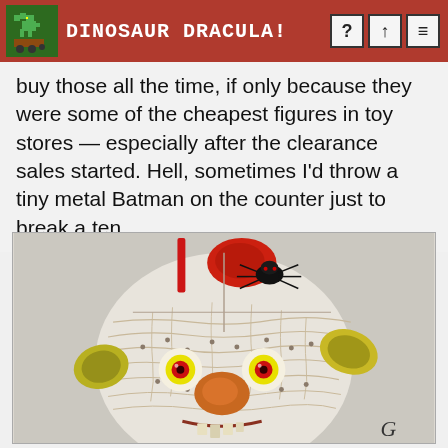DINOSAUR DRACULA!
buy those all the time, if only because they were some of the cheapest figures in toy stores — especially after the clearance sales started. Hell, sometimes I'd throw a tiny metal Batman on the counter just to break a ten.
[Figure (photo): Close-up photo of a grotesque clown/monster toy head with wrinkled white face, red bulging eyes, orange nose, yellow ears, a black spider on top, red blob on forehead, and visible teeth. Letter G appears in the bottom right corner.]